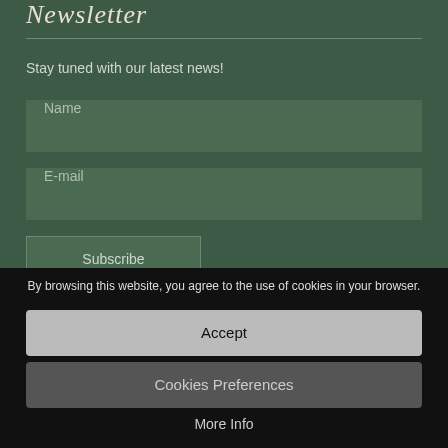Newsletter
Stay tuned with our latest news!
Name
E-mail
Subscribe
By browsing this website, you agree to the use of cookies in your browser.
Accept
Cookies Preferences
More Info